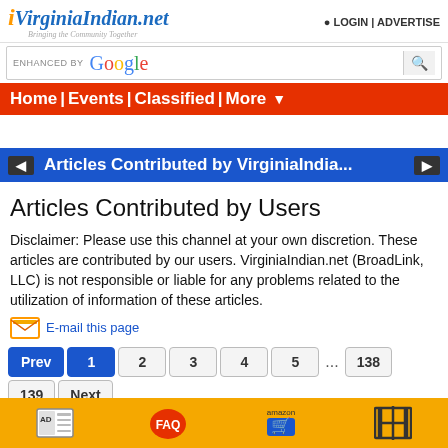VirginiaIndian.net — Bringing the Community Together | LOGIN | ADVERTISE
ENHANCED BY Google
Home | Events | Classified | More
Articles Contributed by VirginiaIndia...
Articles Contributed by Users
Disclaimer: Please use this channel at your own discretion. These articles are contributed by our users. VirginiaIndian.net (BroadLink, LLC) is not responsible or liable for any problems related to the utilization of information of these articles.
E-mail this page
Prev 1 2 3 4 5 ... 138 139 Next
AD | FAQ | amazon | [icon]